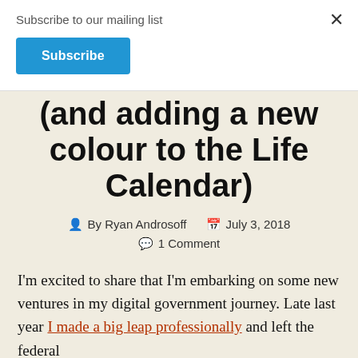Subscribe to our mailing list
Subscribe
(and adding a new colour to the Life Calendar)
By Ryan Androsoff   July 3, 2018   1 Comment
I'm excited to share that I'm embarking on some new ventures in my digital government journey. Late last year I made a big leap professionally and left the federal